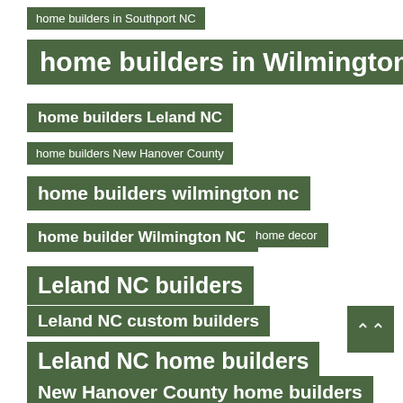home builders in Southport NC
home builders in Wilmington NC
home builders Leland NC
home builders New Hanover County
home builders wilmington nc
home builder Wilmington NC
home decor
Leland NC builders
Leland NC custom builders
Leland NC home builders
New Hanover County home builders
outdoor
Southport NC builders